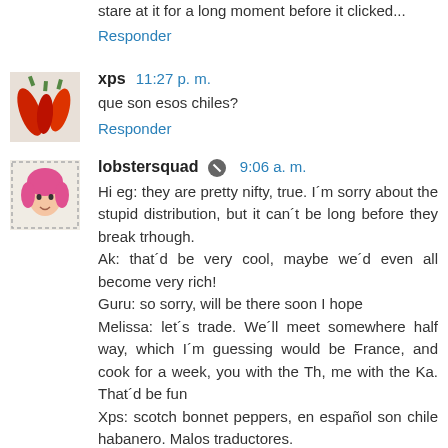stare at it for a long moment before it clicked...
Responder
xps  11:27 p. m.
que son esos chiles?
Responder
lobstersquad  9:06 a. m.
Hi eg: they are pretty nifty, true. I´m sorry about the stupid distribution, but it can´t be long before they break trhough. Ak: that´d be very cool, maybe we´d even all become very rich! Guru: so sorry, will be there soon I hope Melissa: let´s trade. We´ll meet somewhere half way, which I´m guessing would be France, and cook for a week, you with the Th, me with the Ka. That´d be fun Xps: scotch bonnet peppers, en español son chile habanero. Malos traductores.
Responder